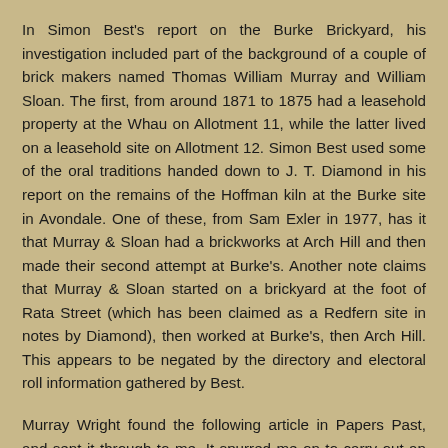In Simon Best's report on the Burke Brickyard, his investigation included part of the background of a couple of brick makers named Thomas William Murray and William Sloan. The first, from around 1871 to 1875 had a leasehold property at the Whau on Allotment 11, while the latter lived on a leasehold site on Allotment 12. Simon Best used some of the oral traditions handed down to J. T. Diamond in his report on the remains of the Hoffman kiln at the Burke site in Avondale. One of these, from Sam Exler in 1977, has it that Murray & Sloan had a brickworks at Arch Hill and then made their second attempt at Burke's. Another note claims that Murray & Sloan started on a brickyard at the foot of Rata Street (which has been claimed as a Redfern site in notes by Diamond), then worked at Burke's, then Arch Hill. This appears to be negated by the directory and electoral roll information gathered by Best.
Murray Wright found the following article in Papers Past, and sent it through to me. It spurred me on to carry out an update on the slightly tangled story of Burke's Brickyard on the Whau. The story, though, is still somewhat of a dig through the clay to try to find enough pieces to fit together for the